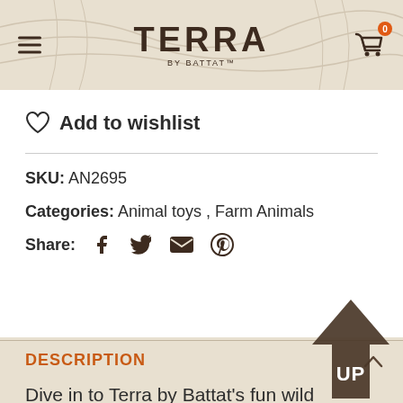TERRA by Battat
Add to wishlist
SKU: AN2695
Categories: Animal toys, Farm Animals
Share:
DESCRIPTION
Dive in to Terra by Battat's fun wild animals! This real Highland cow toy makes a great gift and an ideal good bag stuffer addition for an animal-themed party. Our